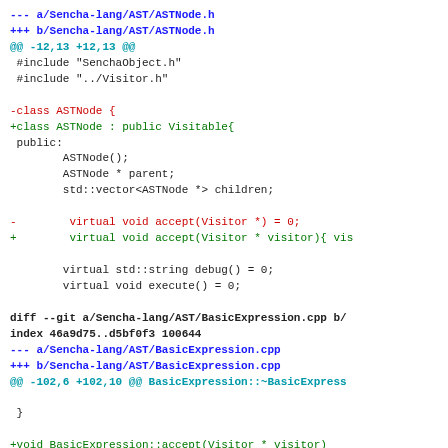--- a/Sencha-lang/AST/ASTNode.h
+++ b/Sencha-lang/AST/ASTNode.h
@@ -12,13 +12,13 @@
 #include "SenchaObject.h"
 #include "../Visitor.h"

-class ASTNode {
+class ASTNode : public Visitable{
 public:
         ASTNode();
         ASTNode * parent;
         std::vector<ASTNode *> children;

 -        virtual void accept(Visitor *) = 0;
 +        virtual void accept(Visitor * visitor){ vis

         virtual std::string debug() = 0;
         virtual void execute() = 0;

diff --git a/Sencha-lang/AST/BasicExpression.cpp b/
index 46a9d75..d5bf0f3 100644
--- a/Sencha-lang/AST/BasicExpression.cpp
+++ b/Sencha-lang/AST/BasicExpression.cpp
@@ -102,6 +102,10 @@ BasicExpression::~BasicExpress

  }

+void BasicExpression::accept(Visitor * visitor)
+{
+    visitor->visit(this);